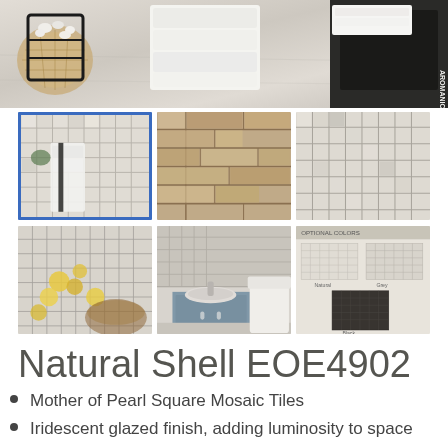[Figure (photo): Main product lifestyle photo showing white towels, woven balls, black metal rack, and AROMANICE branded bag on white textured surface]
[Figure (photo): Grid of 6 thumbnail product photos: pearl white mosaic tile (selected, blue border), beige/tan horizontal mosaic tiles close-up, cream square mosaic tiles, white mosaic tiles with yellow dried flowers, bathroom installation with blue cabinet, color options chart showing various tile colors]
Natural Shell EOE4902
Mother of Pearl Square Mosaic Tiles
Iridescent glazed finish, adding luminosity to space